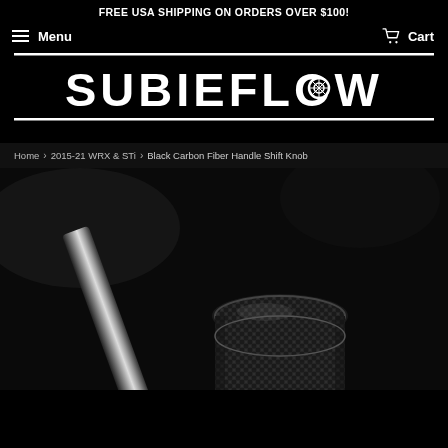FREE USA SHIPPING ON ORDERS OVER $100!
Menu | Cart
[Figure (logo): SUBIEFLOW logo in white text on black background with horizontal lines above and below]
Home › 2015-21 WRX & STi › Black Carbon Fiber Handle Shift Knob
[Figure (photo): Black carbon fiber handle shift knob product photo on dark background with chrome shift rod visible]